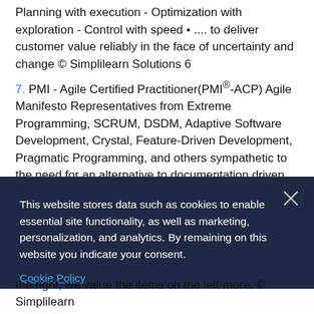Planning with execution - Optimization with exploration - Control with speed • .... to deliver customer value reliably in the face of uncertainty and change © Simplilearn Solutions 6
7. PMI - Agile Certified Practitioner(PMI®-ACP) Agile Manifesto Representatives from Extreme Programming, SCRUM, DSDM, Adaptive Software Development, Crystal, Feature-Driven Development, Pragmatic Programming, and others sympathetic to the need for an alternative to documentation driven, heavyweight software development processes convened in Feb 2001 and defined the Agile Software Development Manifesto © Simplilearn Solutions 7
This website stores data such as cookies to enable essential site functionality, as well as marketing, personalization, and analytics. By remaining on this website you indicate your consent.
Cookie Policy
the right, we value the items on the left more. © Simplilearn